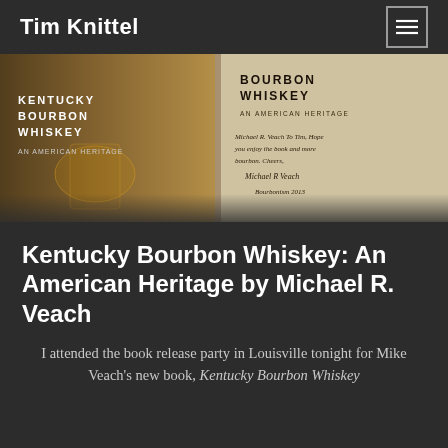Tim Knittel
[Figure (photo): Photo of two copies of the book 'Kentucky Bourbon Whiskey: An American Heritage'. The left copy shows the cover title, and the right copy shows the inside page with a handwritten inscription from Michael R. Veach.]
Kentucky Bourbon Whiskey: An American Heritage by Michael R. Veach
I attended the book release party in Louisville tonight for Mike Veach's new book, Kentucky Bourbon Whiskey…